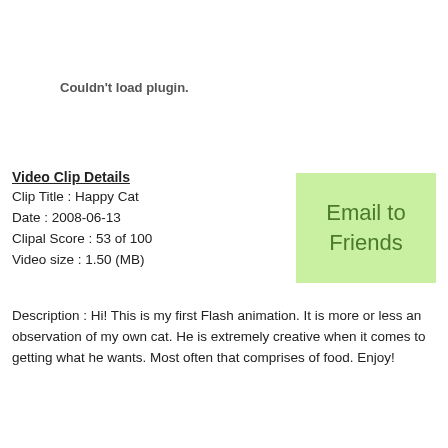Couldn't load plugin.
Video Clip Details
Clip Title : Happy Cat
Date : 2008-06-13
Clipal Score : 53 of 100
Video size : 1.50 (MB)
[Figure (other): Email to Friends button — green background rectangle with text]
Description : Hi! This is my first Flash animation. It is more or less an observation of my own cat. He is extremely creative when it comes to getting what he wants. Most often that comprises of food. Enjoy!